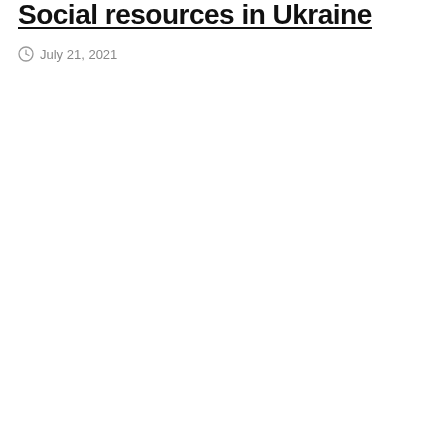Social resources in Ukraine
July 21, 2021